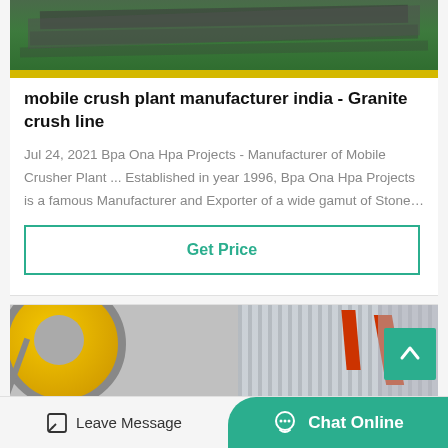[Figure (photo): Industrial machinery photo showing green conveyor or equipment with yellow stripe]
mobile crush plant manufacturer india - Granite crush line
Jul 24, 2021 Bpa Ona Hpa Projects - Manufacturer of Mobile Crusher Plant ... Established in year 1996, Bpa Ona Hpa Projects is a famous Manufacturer and Exporter of a wide gamut of Stone…
Get Price
[Figure (photo): Industrial crusher machinery with yellow wheel and red crane in factory]
Leave Message
Chat Online